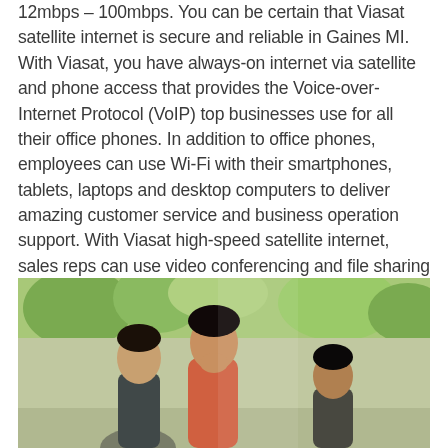12mbps – 100mbps. You can be certain that Viasat satellite internet is secure and reliable in Gaines MI. With Viasat, you have always-on internet via satellite and phone access that provides the Voice-over-Internet Protocol (VoIP) top businesses use for all their office phones. In addition to office phones, employees can use Wi-Fi with their smartphones, tablets, laptops and desktop computers to deliver amazing customer service and business operation support. With Viasat high-speed satellite internet, sales reps can use video conferencing and file sharing to close more deals!
We are confident that you will find the best internet service that is right for you and your online needs at the lowest base price.
[Figure (photo): Photo of three people, two men and a woman, appearing to be in a business meeting or casual discussion outdoors or near a window with green foliage visible in the background. The woman in the center is smiling and covering her mouth with her hand.]